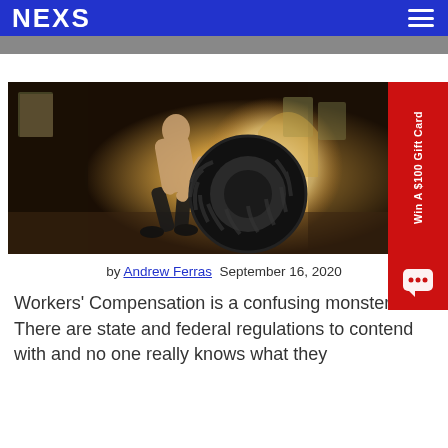NEXS
[Figure (photo): A shirtless man in black shorts flipping a large tractor tire inside a dimly lit warehouse or industrial gym with windows and warm dramatic lighting.]
by Andrew Ferras  September 16, 2020
Workers' Compensation is a confusing monster. There are state and federal regulations to contend with and no one really knows what they need. There's no simple checkbox with a clear answer.